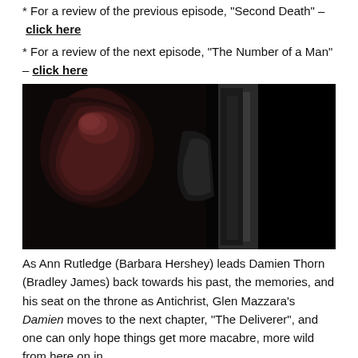* For a review of the previous episode, "Second Death" – click here
* For a review of the next episode, "The Number of a Man" – click here
[Figure (photo): Dark, moody scene with a horror/monster figure visible on the left side, partially illuminated in red tones, against a dark background. Likely a still from the TV show Damien.]
As Ann Rutledge (Barbara Hershey) leads Damien Thorn (Bradley James) back towards his past, the memories, and his seat on the throne as Antichrist, Glen Mazzara's Damien moves to the next chapter, "The Deliverer", and one can only hope things get more macabre, more wild from here on in. After escaping a near stabbing, Damien is really on the radar. Detective Logan Shea (David Meunier) is close on the